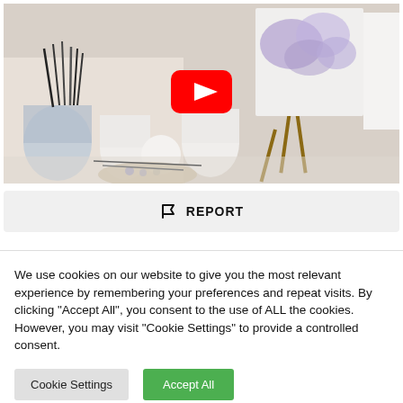[Figure (screenshot): YouTube video thumbnail showing an art studio with paint brushes, palettes, vases, and a painting on an easel. A red YouTube play button icon is centered on the image.]
REPORT
We use cookies on our website to give you the most relevant experience by remembering your preferences and repeat visits. By clicking "Accept All", you consent to the use of ALL the cookies. However, you may visit "Cookie Settings" to provide a controlled consent.
Cookie Settings
Accept All